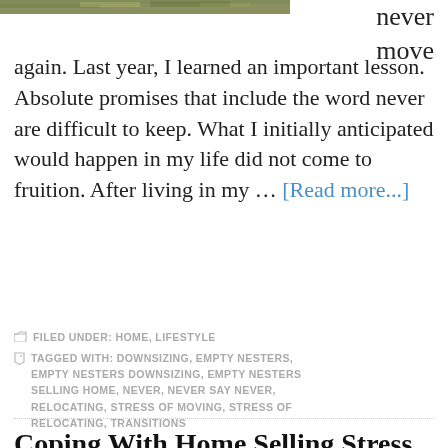[Figure (photo): Partial photo of outdoor scene with greenery at top left]
never move again. Last year, I learned an important lesson. Absolute promises that include the word never are difficult to keep. What I initially anticipated would happen in my life did not come to fruition. After living in my … [Read more...]
FILED UNDER: HOME, LIFESTYLE
TAGGED WITH: DOWNSIZING, EMPTY NESTERS, EMPTY NESTERS DOWNSIZING, EMPTY NESTERS SELLING HOME, NEVER, NEVER SAY NEVER, RELOCATING, STRESS OF MOVING, STRESS OF RELOCATING, TRANSITIONS
Coping With Home Selling Stress
AUGUST 9, 2013  BY  SANDRA BORNSTEIN